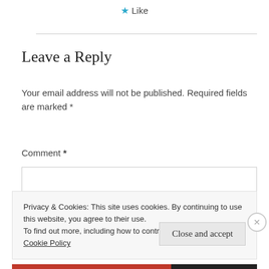★ Like
Leave a Reply
Your email address will not be published. Required fields are marked *
Comment *
Privacy & Cookies: This site uses cookies. By continuing to use this website, you agree to their use.
To find out more, including how to control cookies, see here: Cookie Policy
Close and accept